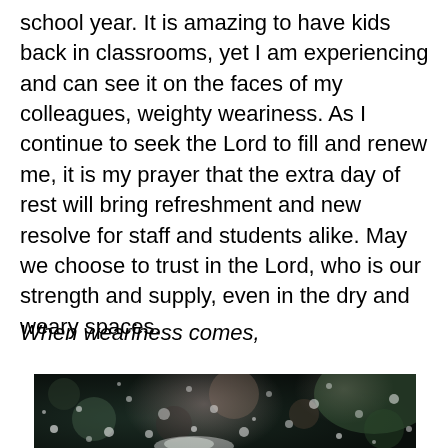school year. It is amazing to have kids back in classrooms, yet I am experiencing and can see it on the faces of my colleagues, weighty weariness. As I continue to seek the Lord to fill and renew me, it is my prayer that the extra day of rest will bring refreshment and new resolve for staff and students alike. May we choose to trust in the Lord, who is our strength and supply, even in the dry and weary spaces.
When weariness comes,
[Figure (photo): Dark bokeh/water droplet photograph with blurred light spots on a dark background, partially visible at bottom of page]